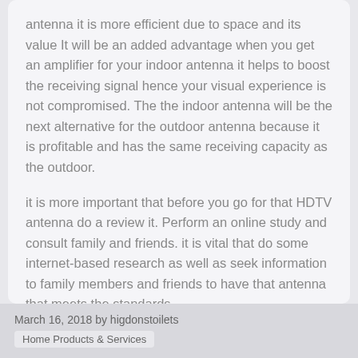antenna it is more efficient due to space and its value It will be an added advantage when you get an amplifier for your indoor antenna it helps to boost the receiving signal hence your visual experience is not compromised. The the indoor antenna will be the next alternative for the outdoor antenna because it is profitable and has the same receiving capacity as the outdoor.
it is more important that before you go for that HDTV antenna do a review it. Perform an online study and consult family and friends. it is vital that do some internet-based research as well as seek information to family members and friends to have that antenna that meets the standards.
March 16, 2018 by higdonstoilets
Home Products & Services